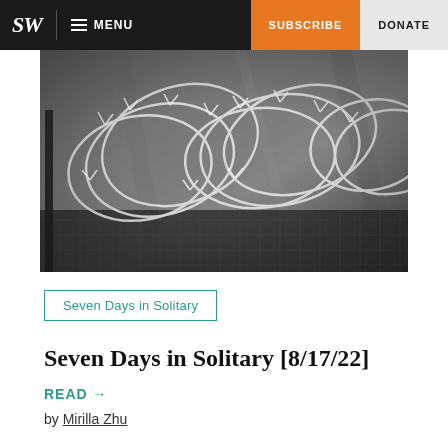SW | MENU | SUBSCRIBE | DONATE
[Figure (photo): Black and white photograph of razor wire / concertina wire coiled on top of a chain-link fence against a concrete wall background — typical prison or detention facility fencing]
Seven Days in Solitary
Seven Days in Solitary [8/17/22]
READ →
by Mirilla Zhu